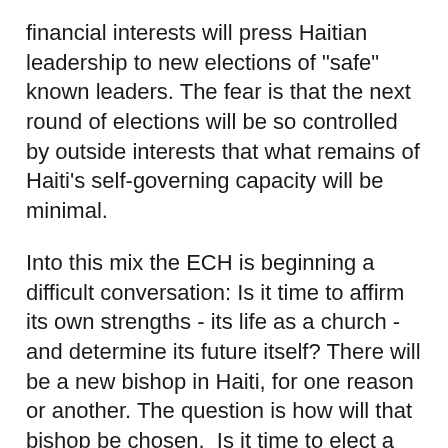financial interests will press Haitian leadership to new elections of "safe" known leaders. The fear is that the next round of elections will be so controlled by outside interests that what remains of Haiti's self-governing capacity will be minimal.
Into this mix the ECH is beginning a difficult conversation: Is it time to affirm its own strengths - its life as a church - and determine its future itself? There will be a new bishop in Haiti, for one reason or another. The question is how will that bishop be chosen.  Is it time to elect a bishop not for the TEC, who is bishop of Haiti, but a bishop of Haiti not part of TEC?  Or perhaps Haitian, for Haiti, but in some sort of concordat with TEC, such that the Haitian Episcopate does not conform in all aspects to the Episcopate as understood in TEC itself.
That's the way the work began in Haiti. Bishop Holly